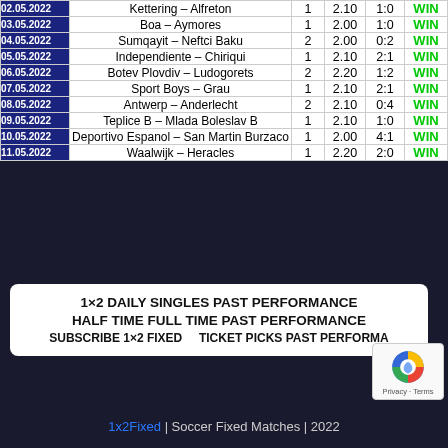| Date | Match | Pick | Odds | Score | Result |
| --- | --- | --- | --- | --- | --- |
| 02.05.2022 | Kettering – Alfreton | 1 | 2.10 | 1:0 | WIN |
| 03.05.2022 | Boa – Aymores | 1 | 2.00 | 1:0 | WIN |
| 04.05.2022 | Sumqayit – Neftci Baku | 2 | 2.00 | 0:2 | WIN |
| 05.05.2022 | Independiente – Chiriqui | 1 | 2.10 | 2:1 | WIN |
| 06.05.2022 | Botev Plovdiv – Ludogorets | 2 | 2.20 | 1:2 | WIN |
| 07.05.2022 | Sport Boys – Grau | 1 | 2.10 | 2:1 | WIN |
| 08.05.2022 | Antwerp – Anderlecht | 2 | 2.10 | 0:4 | WIN |
| 09.05.2022 | Teplice B – Mlada Boleslav B | 1 | 2.10 | 1:0 | WIN |
| 10.05.2022 | Deportivo Espanol – San Martin Burzaco | 1 | 2.00 | 4:1 | WIN |
| 11.05.2022 | Waalwijk – Heracles | 1 | 2.20 | 2:0 | WIN |
1×2 DAILY SINGLES PAST PERFORMANCE
HALF TIME FULL TIME PAST PERFORMANCE
SUBSCRIBE 1×2 FIXED    TICKET PICKS PAST PERFORMANCE
1x2Fixed | Soccer Fixed Matches | 2022